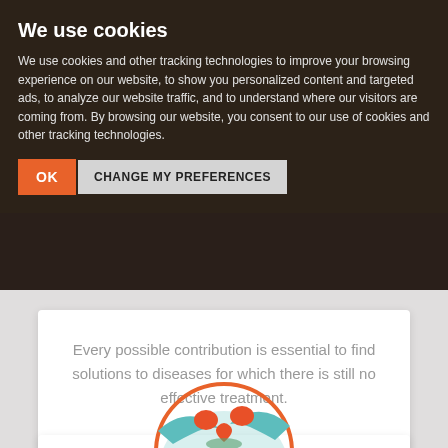We use cookies
We use cookies and other tracking technologies to improve your browsing experience on our website, to show you personalized content and targeted ads, to analyze our website traffic, and to understand where our visitors are coming from. By browsing our website, you consent to our use of cookies and other tracking technologies.
Every possible contribution is essential to find solutions to diseases for which there is still no effective treatment.
[Figure (illustration): Circular illustration showing hands exchanging or holding hearts, with a teal/orange color scheme and a decorative border]